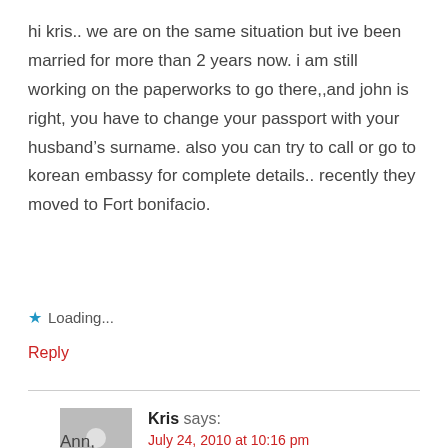hi kris.. we are on the same situation but ive been married for more than 2 years now. i am still working on the paperworks to go there,,and john is right, you have to change your passport with your husband’s surname. also you can try to call or go to korean embassy for complete details.. recently they moved to Fort bonifacio.
★ Loading...
Reply
Kris says:
July 24, 2010 at 10:16 pm
Ann,